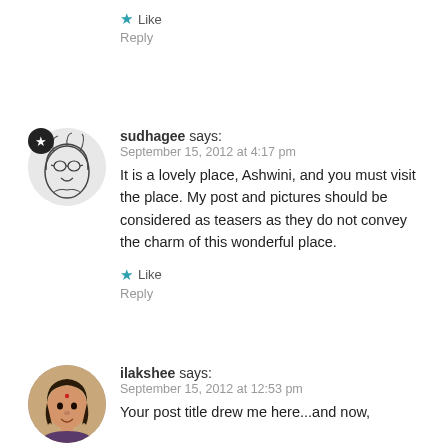★ Like
Reply
sudhagee says:
September 15, 2012 at 4:17 pm
It is a lovely place, Ashwini, and you must visit the place. My post and pictures should be considered as teasers as they do not convey the charm of this wonderful place.
★ Like
Reply
ilakshee says:
September 15, 2012 at 12:53 pm
Your post title drew me here...and now,